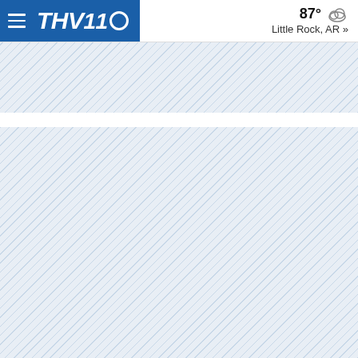THV 11 CBS — 87° Little Rock, AR »
[Figure (screenshot): THV11 CBS news website screenshot showing header navigation bar with hamburger menu, THV11 CBS logo in blue, weather showing 87° with cloud icon and location Little Rock, AR, followed by diagonal stripe placeholder/loading content areas.]